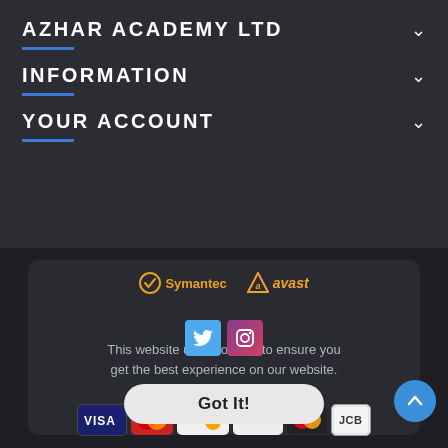AZHAR ACADEMY LTD
INFORMATION
YOUR ACCOUNT
[Figure (screenshot): Cookie consent popup with security logos (Symantec, Avast), social icons (Twitter, Instagram), cookie notice text, Learn more link, payment method logos (Visa, Maestro, Discover, PayPal, Mastercard, JCB), Got It button, and scroll-to-top button]
This website uses cookies to ensure you get the best experience on our website.
Learn more
Got It!